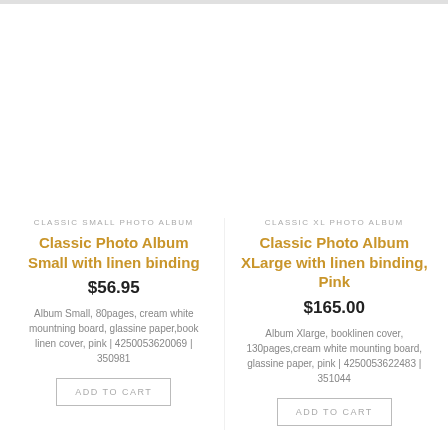CLASSIC SMALL PHOTO ALBUM
Classic Photo Album Small with linen binding
$56.95
Album Small, 80pages, cream white mountning board, glassine paper,book linen cover, pink | 4250053620069 | 350981
ADD TO CART
CLASSIC XL PHOTO ALBUM
Classic Photo Album XLarge with linen binding, Pink
$165.00
Album Xlarge, booklinen cover, 130pages,cream white mounting board, glassine paper, pink | 4250053622483 | 351044
ADD TO CART